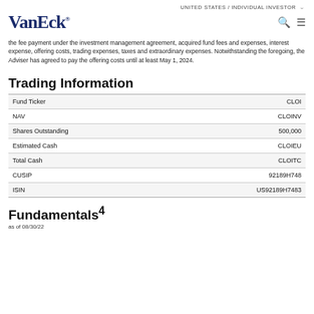UNITED STATES / INDIVIDUAL INVESTOR
[Figure (logo): VanEck logo in dark navy blue serif font with registered trademark symbol]
the fee payment under the investment management agreement, acquired fund fees and expenses, interest expense, offering costs, trading expenses, taxes and extraordinary expenses. Notwithstanding the foregoing, the Adviser has agreed to pay the offering costs until at least May 1, 2024.
Trading Information
|  |  |
| --- | --- |
| Fund Ticker | CLOI |
| NAV | CLOINV |
| Shares Outstanding | 500,000 |
| Estimated Cash | CLOIEU |
| Total Cash | CLOITC |
| CUSIP | 92189H748 |
| ISIN | US92189H7483 |
Fundamentals⁴
as of 08/30/22